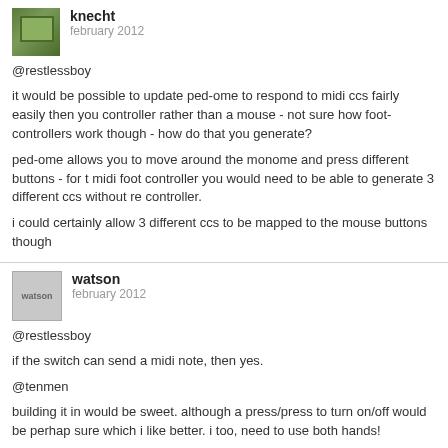knecht
february 2012
@restlessboy
it would be possible to update ped-ome to respond to midi ccs fairly easily then you controller rather than a mouse - not sure how foot-controllers work though - how do that you generate?
ped-ome allows you to move around the monome and press different buttons - for t midi foot controller you would need to be able to generate 3 different ccs without re controller.
i could certainly allow 3 different ccs to be mapped to the mouse buttons though
watson
february 2012
@restlessboy
if the switch can send a midi note, then yes.
@tenmen
building it in would be sweet. although a press/press to turn on/off would be perhap sure which i like better. i too, need to use both hands!
‹   1   2   ›